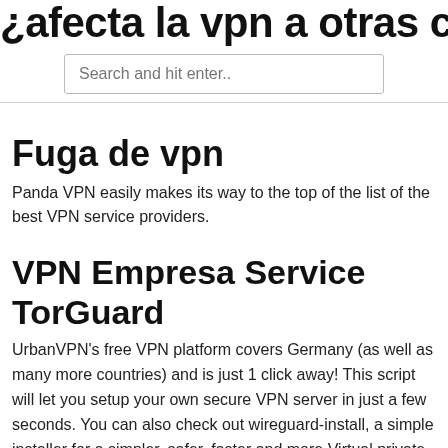¿afecta la vpn a otras computadoras
Search and hit enter..
Fuga de vpn
Panda VPN easily makes its way to the top of the list of the best VPN service providers.
VPN Empresa Service TorGuard
UrbanVPN's free VPN platform covers Germany (as well as many more countries) and is just 1 click away! This script will let you setup your own secure VPN server in just a few seconds. You can also check out wireguard-install, a simple installer for a simpler, safer, faster and more Virtual private